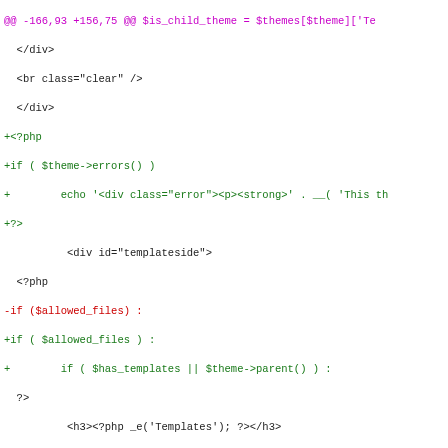[Figure (screenshot): A unified diff / code review screenshot showing changes to a PHP template file. Lines are color-coded: magenta for diff hunk headers, green for added lines, red for removed lines, black for unchanged context lines. One removed line highlights '$is_child_theme' in a red background span, and one added line highlights '$theme->parent()' in a green background span.]